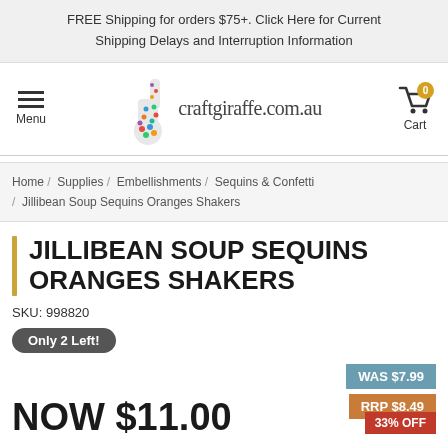FREE Shipping for orders $75+. Click Here for Current Shipping Delays and Interruption Information
[Figure (logo): craftgiraffe.com.au logo with colorful giraffe illustration and navigation icons for Menu and Cart]
Home / Supplies / Embellishments / Sequins & Confetti / Jillibean Soup Sequins Oranges Shakers
JILLIBEAN SOUP SEQUINS ORANGES SHAKERS
SKU: 998820
Only 2 Left!
WAS $7.99
RRP $8.49
NOW $11.00
33% OFF